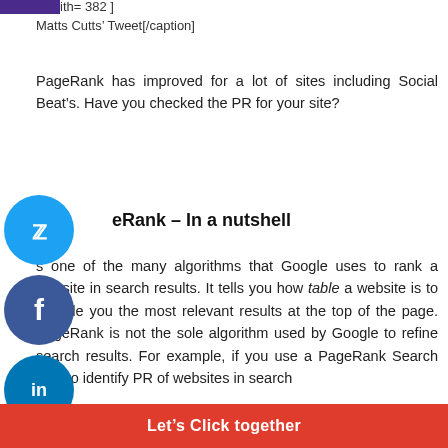ith= 382 ]
Matts Cutts’ Tweet[/caption]
PageRank has improved for a lot of sites including Social Beat’s. Have you checked the PR for your site?
eRank – In a nutshell
s one of the many algorithms that Google uses to rank a website in search results. It tells you how table a website is to provide you the most relevant results at the top of the page. PageRank is not the sole algorithm used by Google to refine search results. For example, if you use a PageRank Search Tool to identify PR of websites in search
Let’s Click together